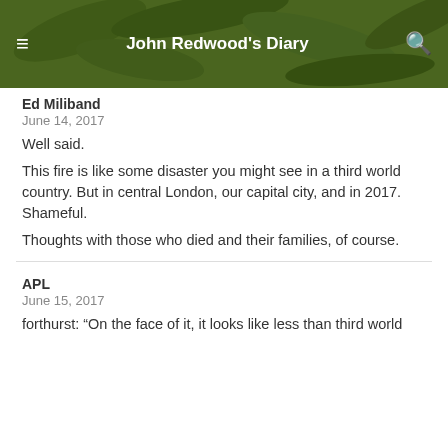John Redwood's Diary
Ed Miliband
June 14, 2017
Well said.
This fire is like some disaster you might see in a third world country. But in central London, our capital city, and in 2017. Shameful.
Thoughts with those who died and their families, of course.
APL
June 15, 2017
forthurst: “On the face of it, it looks like less than third world standards here: people climbed on the clouds.”